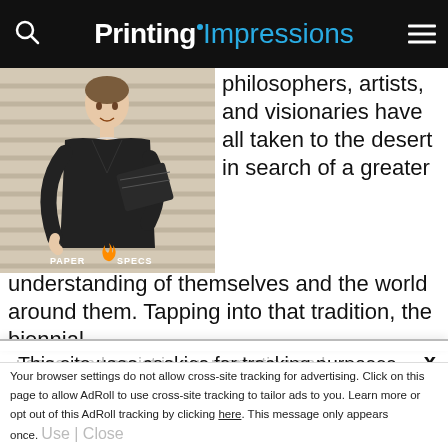Printing Impressions
[Figure (photo): Woman in black dress holding a dark box, standing in front of window blinds. PaperSpecs watermark visible.]
philosophers, artists, and visionaries have all taken to the desert in search of a greater understanding of themselves and the world around them. Tapping into that tradition, the biennial
This site uses cookies for tracking purposes. By continuing to browse our website, you agree to the storing of first- and third-party cookies on your device to enhance site navigation, analyze site
usage, and assist in our marketing and
Accept and Close ✕
Your browser settings do not allow cross-site tracking for advertising. Click on this page to allow AdRoll to use cross-site tracking to tailor ads to you. Learn more or opt out of this AdRoll tracking by clicking here. This message only appears once.